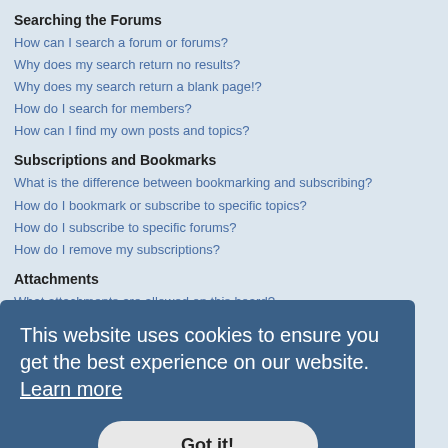Searching the Forums
How can I search a forum or forums?
Why does my search return no results?
Why does my search return a blank page!?
How do I search for members?
How can I find my own posts and topics?
Subscriptions and Bookmarks
What is the difference between bookmarking and subscribing?
How do I bookmark or subscribe to specific topics?
How do I subscribe to specific forums?
How do I remove my subscriptions?
Attachments
What attachments are allowed on this board?
How do I find all my attachments?
phpBB Issues
Who wrote this bulletin board?
Why isn't X feature available?
Who do I contact about abusive and/or legal matters related to this board?
How do I contact a board administrator?
This website uses cookies to ensure you get the best experience on our website. Learn more
Got it!
Login and Registration Issues
Why do I need to register?